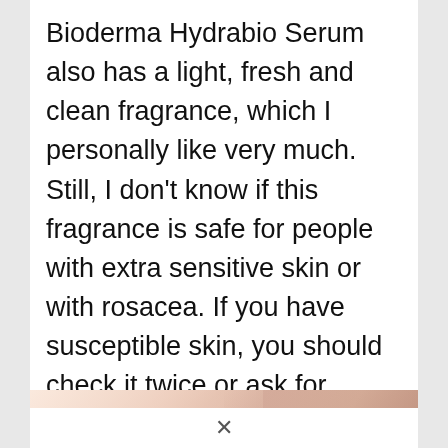Bioderma Hydrabio Serum also has a light, fresh and clean fragrance, which I personally like very much. Still, I don’t know if this fragrance is safe for people with extra sensitive skin or with rosacea. If you have susceptible skin, you should check it twice or ask for professional advice about this product.
[Figure (photo): Close-up photo of a hand or skin, showing skin texture with warm pinkish-beige tones. Partial view cropped at top of image.]